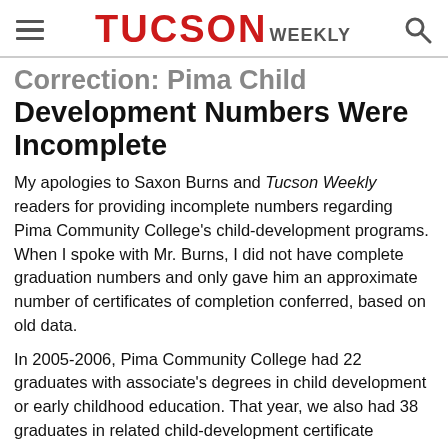TUCSON WEEKLY
Correction: Pima Child Development Numbers Were Incomplete
My apologies to Saxon Burns and Tucson Weekly readers for providing incomplete numbers regarding Pima Community College's child-development programs. When I spoke with Mr. Burns, I did not have complete graduation numbers and only gave him an approximate number of certificates of completion conferred, based on old data.
In 2005-2006, Pima Community College had 22 graduates with associate's degrees in child development or early childhood education. That year, we also had 38 graduates in related child-development certificate programs. Over the past five years, Pima Community College has awarded more than 180 degrees and certificates in child-development fields to students.